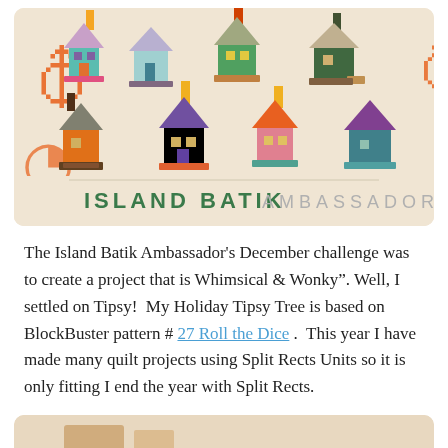[Figure (illustration): Island Batik Ambassadors banner image showing colorful patchwork quilt houses in two rows on a cream/beige background, with orange swirl decorations on the sides. Text at bottom reads 'ISLAND BATIK AMBASSADORS' with ISLAND BATIK in bold dark green and AMBASSADORS in light gray.]
The Island Batik Ambassador's December challenge was to create a project that is Whimsical & Wonky". Well, I settled on Tipsy!  My Holiday Tipsy Tree is based on BlockBuster pattern # 27 Roll the Dice .  This year I have made many quilt projects using Split Rects Units so it is only fitting I end the year with Split Rects.
[Figure (photo): Partially visible image at the bottom of the page, showing what appears to be a quilt project on a light background.]